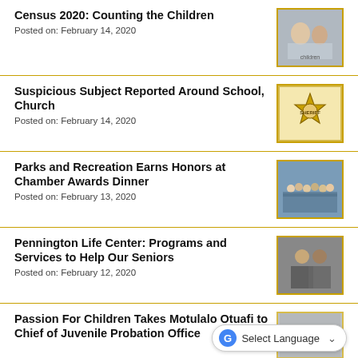Census 2020: Counting the Children
Posted on: February 14, 2020
[Figure (photo): Two children lying down, viewed from above]
Suspicious Subject Reported Around School, Church
Posted on: February 14, 2020
[Figure (photo): Sheriff badge / star emblem with gold coloring]
Parks and Recreation Earns Honors at Chamber Awards Dinner
Posted on: February 13, 2020
[Figure (photo): Group photo of Parks and Recreation staff]
Pennington Life Center: Programs and Services to Help Our Seniors
Posted on: February 12, 2020
[Figure (photo): Two people standing together indoors]
Passion For Children Takes Motulalo Otuafi to Chief of Juvenile Probation Office
[Figure (photo): Partially visible photo, partially obscured by language selector]